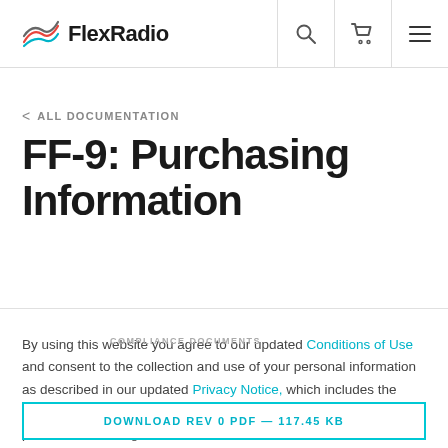FlexRadio
< ALL DOCUMENTATION
FF-9: Purchasing Information
By using this website you agree to our updated Conditions of Use and consent to the collection and use of your personal information as described in our updated Privacy Notice, which includes the categories of data we collect and information about your preferences and rights.
COMPLIANCE DOCUMENTS
DOWNLOAD REV 0 PDF — 117.45 KB